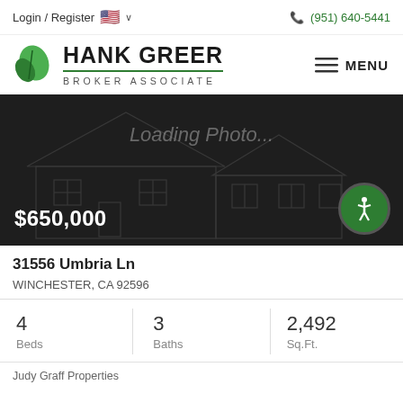Login / Register  🇺🇸 ∨   (951) 640-5441
[Figure (logo): Hank Greer Broker Associate logo with green leaf icon]
[Figure (photo): Dark hero image with 'Loading Photo...' text and house wireframe graphic. Price $650,000 shown in bottom left. Green accessibility button in bottom right.]
31556 Umbria Ln
WINCHESTER, CA 92596
4 Beds   3 Baths   2,492 Sq.Ft.
Judy Graff Properties